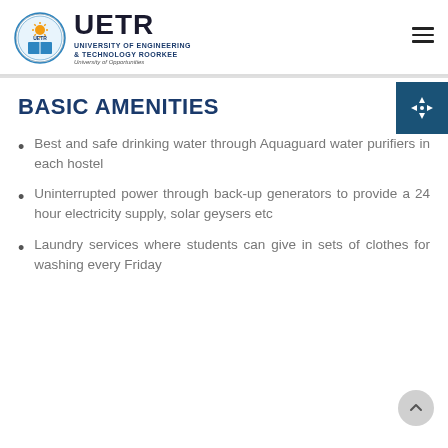UETR – University of Engineering & Technology Roorkee – University of Opportunities
BASIC AMENITIES
Best and safe drinking water through Aquaguard water purifiers in each hostel
Uninterrupted power through back-up generators to provide a 24 hour electricity supply, solar geysers etc
Laundry services where students can give in sets of clothes for washing every Friday